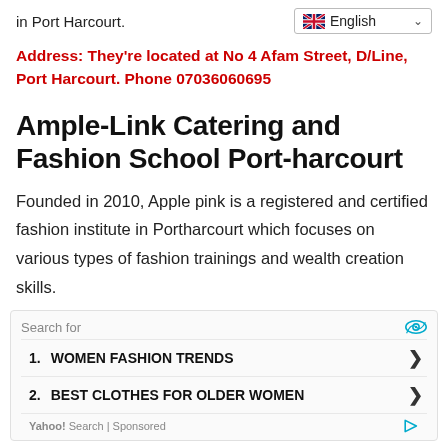in Port Harcourt.
Address: They're located at No 4 Afam Street, D/Line, Port Harcourt. Phone 07036060695
Ample-Link Catering and Fashion School Port-harcourt
Founded in 2010, Apple pink is a registered and certified fashion institute in Portharcourt which focuses on various types of fashion trainings and wealth creation skills.
Search for
1. WOMEN FASHION TRENDS
2. BEST CLOTHES FOR OLDER WOMEN
Yahoo! Search | Sponsored